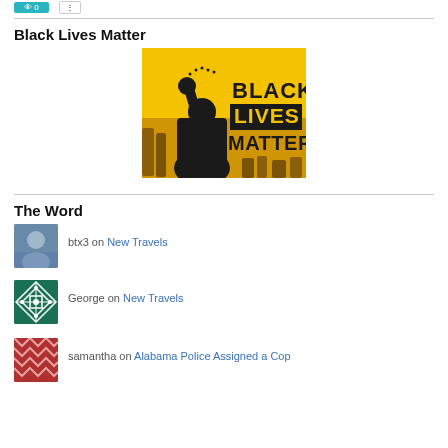Black Lives Matter
[Figure (illustration): Black Lives Matter poster with yellow background, person with raised fist in dark hoodie, crowd behind, text BLACK LIVES MATTER in bold black with white letters inside B.]
The Word
btx3 on New Travels
George on New Travels
samantha on Alabama Police Assigned a Cop